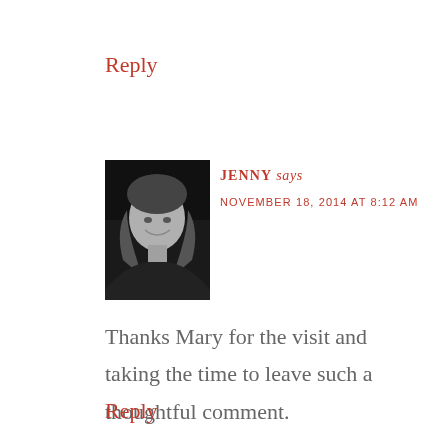Reply
[Figure (photo): Black and white portrait photo of a woman with long hair, smiling slightly]
JENNY says
NOVEMBER 18, 2014 AT 8:12 AM
Thanks Mary for the visit and taking the time to leave such a thoughtful comment.
Reply